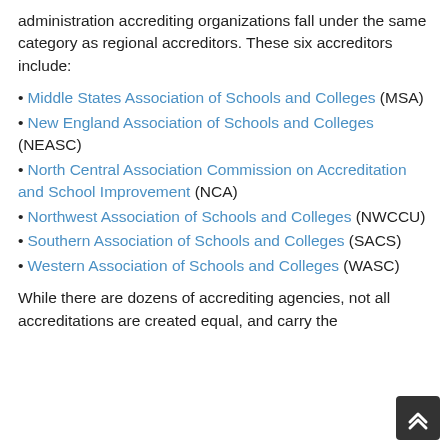administration accrediting organizations fall under the same category as regional accreditors. These six accreditors include:
• Middle States Association of Schools and Colleges (MSA)
• New England Association of Schools and Colleges (NEASC)
• North Central Association Commission on Accreditation and School Improvement (NCA)
• Northwest Association of Schools and Colleges (NWCCU)
• Southern Association of Schools and Colleges (SACS)
• Western Association of Schools and Colleges (WASC)
While there are dozens of accrediting agencies, not all accreditations are created equal, and carry the